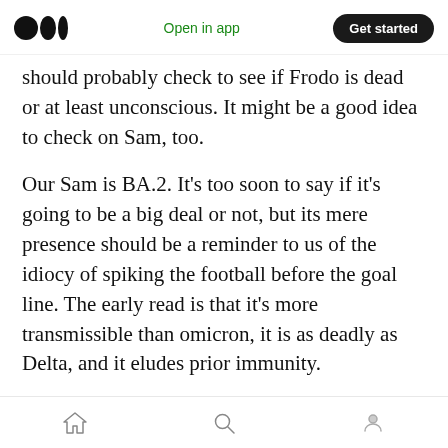Medium logo | Open in app | Get started
should probably check to see if Frodo is dead or at least unconscious. It might be a good idea to check on Sam, too.
Our Sam is BA.2. It’s too soon to say if it’s going to be a big deal or not, but its mere presence should be a reminder to us of the idiocy of spiking the football before the goal line. The early read is that it’s more transmissible than omicron, it is as deadly as Delta, and it eludes prior immunity.
We aren’t just celebrating too soon — we’re turning off the scoreboard. Testing sites are
Home | Search | Profile